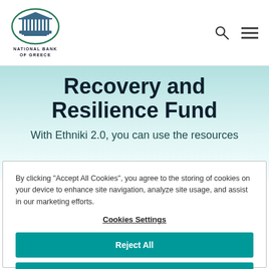[Figure (logo): National Bank of Greece logo — building illustration above text 'NATIONAL BANK OF GREECE']
Recovery and Resilience Fund
With Ethniki 2.0, you can use the resources
By clicking "Accept All Cookies", you agree to the storing of cookies on your device to enhance site navigation, analyze site usage, and assist in our marketing efforts.
Cookies Settings
Reject All
Accept All Cookies